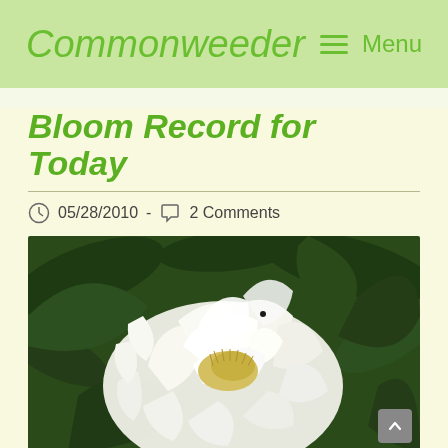Commonweeder  ☰ Menu
Bloom Record for Today
05/28/2010  -  2 Comments
[Figure (photo): Close-up photograph of a large white peony flower with lush green leaves in the background]